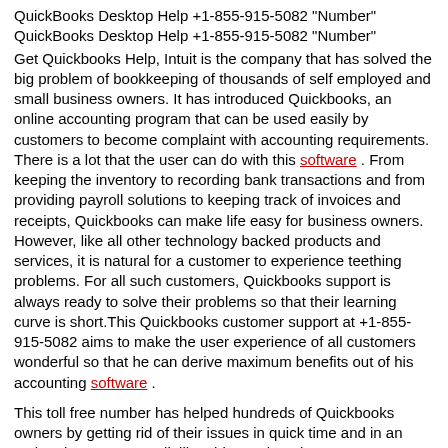QuickBooks Desktop Help +1-855-915-5082 "Number"
QuickBooks Desktop Help +1-855-915-5082 "Number"
Get Quickbooks Help, Intuit is the company that has solved the big problem of bookkeeping of thousands of self employed and small business owners. It has introduced Quickbooks, an online accounting program that can be used easily by customers to become complaint with accounting requirements. There is a lot that the user can do with this software . From keeping the inventory to recording bank transactions and from providing payroll solutions to keeping track of invoices and receipts, Quickbooks can make life easy for business owners. However, like all other technology backed products and services, it is natural for a customer to experience teething problems. For all such customers, Quickbooks support is always ready to solve their problems so that their learning curve is short.This Quickbooks customer support at +1-855-915-5082 aims to make the user experience of all customers wonderful so that he can derive maximum benefits out of his accounting software .
This toll free number has helped hundreds of Quickbooks owners by getting rid of their issues in quick time and in an authentic manner. By dialling this number, these customers have saved their time, energy, and also money. The call of the distressed Quickbooks customer is attended by one of our qualified professionals. He listens to the complaints and then gives authentic solutions to their problems. With genuine help received timely, these Quickbooks users are able to improve their productivity . They are also able to focus upon more productive areas of their business.
The only thing to remember here is that this Quickbooks phone